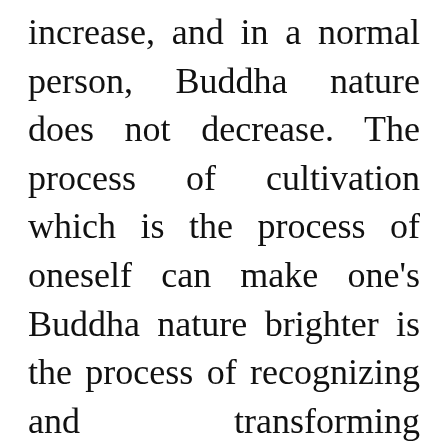increase, and in a normal person, Buddha nature does not decrease. The process of cultivation which is the process of oneself can make one's Buddha nature brighter is the process of recognizing and transforming ignorance, defilements, and suffering into